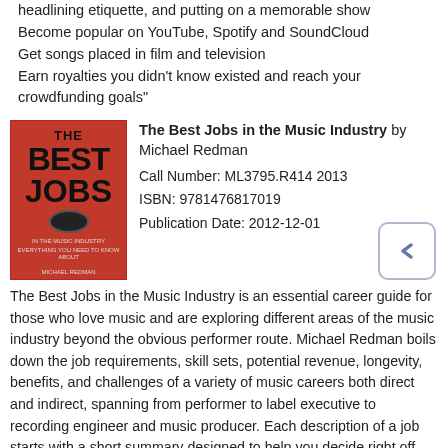Been a profitable tour, and tips for playing live, such as opening for headlining etiquette, and putting on a memorable show
Become popular on YouTube, Spotify and SoundCloud
Get songs placed in film and television
Earn royalties you didn't know existed and reach your crowdfunding goals"
[Figure (illustration): Red book cover titled 'The Best Jobs in the Music Industry' by Michael Redman]
The Best Jobs in the Music Industry by Michael Redman
Call Number: ML3795.R414 2013
ISBN: 9781476817019
Publication Date: 2012-12-01
The Best Jobs in the Music Industry is an essential career guide for those who love music and are exploring different areas of the music industry beyond the obvious performer route. Michael Redman boils down the job requirements, skill sets, potential revenue, longevity, benefits, and challenges of a variety of music careers both direct and indirect, spanning from performer to label executive to recording engineer and music producer. Each description of a job starts with a short summary designed to help you decide right off the bat whether this might be something you want to explore further, followed by the real stories, paths to success, and challenges you may confront all in the words of real pros. Read and learn from people who have lived the music industry, navigated